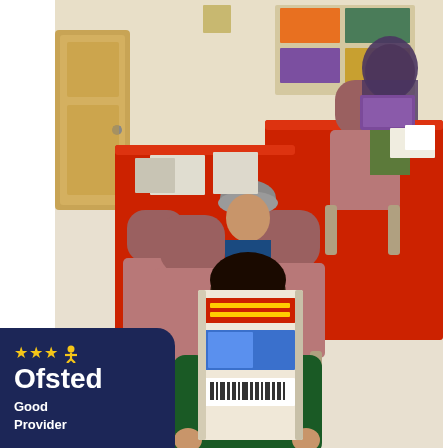[Figure (photo): Children sitting at red-tablecloth-covered tables in a hall or community room, reading books. In the foreground, a child in a green jumper holds up a book covering their face. In the background, another child with a grey cap sits reading, and further back a woman in a hijab sits at another red-covered table reading. Various papers and booklets are on the tables. On the foreground table is a printed sheet showing a plate with cutlery and a black-and-white printed booklet. A 'My Book Tasting Review' sheet is also visible.]
[Figure (logo): Ofsted 'Good Provider' badge: dark navy blue background with three gold stars and a gold person/star icon, white text reading 'Ofsted', and below in white text 'Good Provider'.]